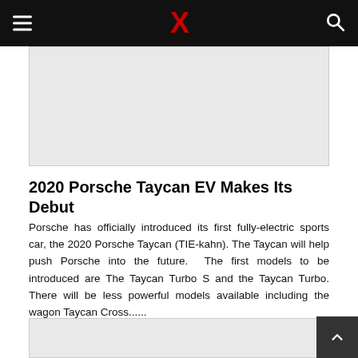X (logo) with hamburger menu and search icon
[Figure (other): Gray advertisement/image placeholder box at top of article]
2020 Porsche Taycan EV Makes Its Debut
Porsche has officially introduced its first fully-electric sports car, the 2020 Porsche Taycan (TIE-kahn). The Taycan will help push Porsche into the future.  The first models to be introduced are The Taycan Turbo S and the Taycan Turbo. There will be less powerful models available including the wagon Taycan Cross......
[Figure (other): Gray advertisement/image placeholder box at bottom of page]